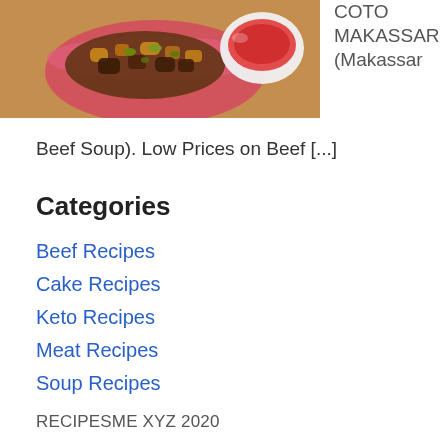[Figure (photo): Photo of a bowl of fried/spiced food with green garnish and a small bowl of red chili sauce on a wooden surface]
COTO MAKASSAR (Makassar Beef Soup). Low Prices on Beef [...]
Categories
Beef Recipes
Cake Recipes
Keto Recipes
Meat Recipes
Soup Recipes
RECIPESME XYZ 2020